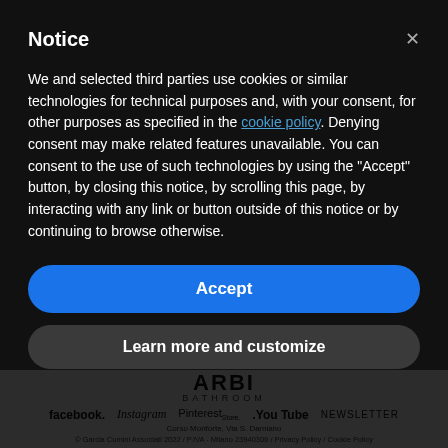Notice
We and selected third parties use cookies or similar technologies for technical purposes and, with your consent, for other purposes as specified in the cookie policy. Denying consent may make related features unavailable. You can consent to the use of such technologies by using the "Accept" button, by closing this notice, by scrolling this page, by interacting with any link or button outside of this notice or by continuing to browse otherwise.
Accept
Learn more and customize
ARBI BATHROOM | facebook. Instagram Pinterest Store .You Tube NEWSLETTER | Corso Monforte, Via S. Damiano | © Garcia Cumini Associati 2022 / P.IVA - Milano 23940306 / Privacy Policy / Cookie Policy